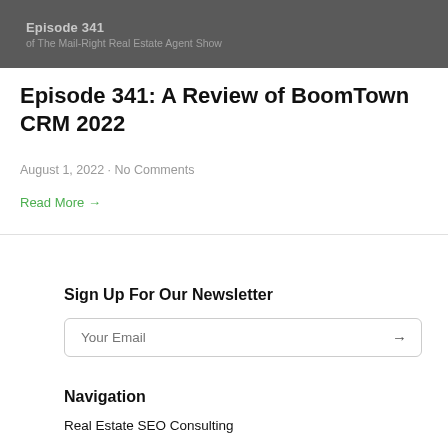[Figure (screenshot): Dark grey header banner showing 'Episode 341 of The Mail-Right Real Estate Agent Show']
Episode 341: A Review of BoomTown CRM 2022
August 1, 2022 · No Comments
Read More →
Sign Up For Our Newsletter
Your Email
Navigation
Real Estate SEO Consulting